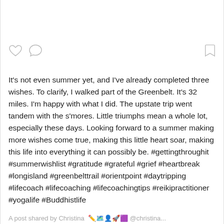[Figure (infographic): Social media post icons: heart (like), comment bubble, and bookmark icons]
It's not even summer yet, and I've already completed three wishes. To clarify, I walked part of the Greenbelt. It's 32 miles. I'm happy with what I did. The upstate trip went tandem with the s'mores. Little triumphs mean a whole lot, especially these days. Looking forward to a summer making more wishes come true, making this little heart soar, making this life into everything it can possibly be. #gettingthroughit #summerwishlist #gratitude #grateful #grief #heartbreak #longisland #greenbelttrail #orientpoint #daytripping #lifecoach #lifecoaching #lifecoachingtips #reikipractitioner #yogalife #Buddhistlife
A post shared by Christina ... @christina...